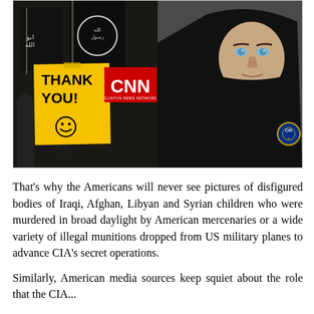[Figure (photo): Composite image: left side shows people holding black ISIS-style flags with a yellow sticky note saying 'THANK YOU!' and a red CNN (Clinton News Network) logo badge; right side shows a woman wearing a black niqab/hijab with a CIA badge on her clothing.]
That's why the Americans will never see pictures of disfigured bodies of Iraqi, Afghan, Libyan and Syrian children who were murdered in broad daylight by American mercenaries or a wide variety of illegal munitions dropped from US military planes to advance CIA's secret operations.
Similarly, American media sources keep squiet about the role that the CIA...